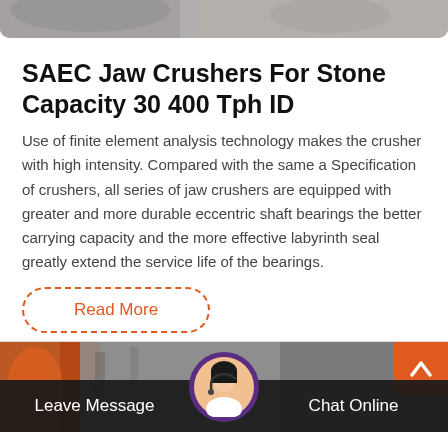[Figure (photo): Top cropped photo of machinery/equipment, partially visible at top of page]
SAEC Jaw Crushers For Stone Capacity 30 400 Tph ID
Use of finite element analysis technology makes the crusher with high intensity. Compared with the same a Specification of crushers, all series of jaw crushers are equipped with greater and more durable eccentric shaft bearings the better carrying capacity and the more effective labyrinth seal greatly extend the service life of the bearings.
Read More
[Figure (photo): Bottom section showing industrial equipment background with customer service agent avatar and navigation bar with Leave Message and Chat Online buttons]